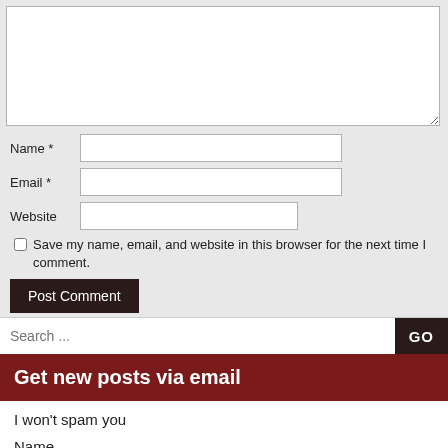[Figure (screenshot): Large textarea input field for comment entry, with resize handle at bottom-right]
Name *
Email *
Website
Save my name, email, and website in this browser for the next time I comment.
Post Comment
Search ...
Get new posts via email
I won't spam you
Name
Name